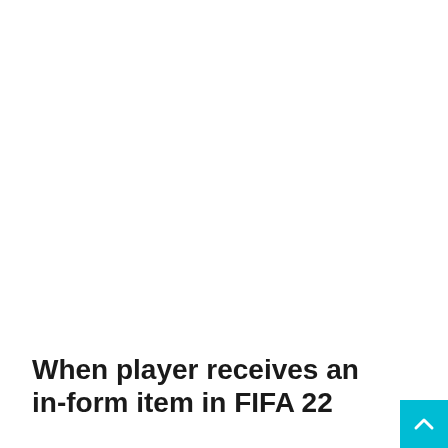When player receives an in-form item in FIFA 22